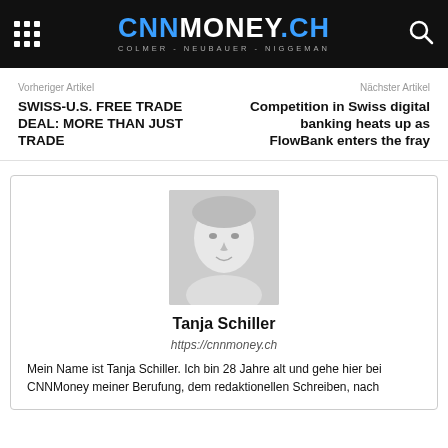CNNMONEY.CH — COLMER - NEUBAUER - NIGGEMAN
Vorheriger Artikel
Nächster Artikel
SWISS-U.S. FREE TRADE DEAL: MORE THAN JUST TRADE
Competition in Swiss digital banking heats up as FlowBank enters the fray
[Figure (photo): Portrait photo of Tanja Schiller, a woman with light hair, smiling, in black and white / light tones]
Tanja Schiller
https://cnnmoney.ch
Mein Name ist Tanja Schiller. Ich bin 28 Jahre alt und gehe hier bei CNNMoney meiner Berufung, dem redaktionellen Schreiben, nach